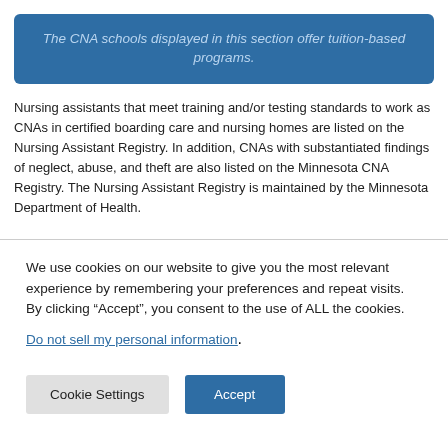The CNA schools displayed in this section offer tuition-based programs.
Nursing assistants that meet training and/or testing standards to work as CNAs in certified boarding care and nursing homes are listed on the Nursing Assistant Registry. In addition, CNAs with substantiated findings of neglect, abuse, and theft are also listed on the Minnesota CNA Registry. The Nursing Assistant Registry is maintained by the Minnesota Department of Health.
We use cookies on our website to give you the most relevant experience by remembering your preferences and repeat visits. By clicking “Accept”, you consent to the use of ALL the cookies.
Do not sell my personal information.